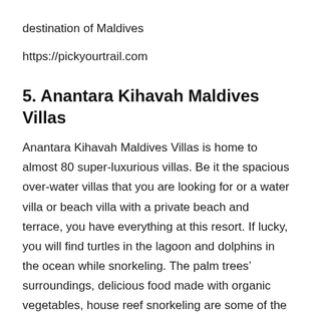destination of Maldives
https://pickyourtrail.com
5. Anantara Kihavah Maldives Villas
Anantara Kihavah Maldives Villas is home to almost 80 super-luxurious villas. Be it the spacious over-water villas that you are looking for or a water villa or beach villa with a private beach and terrace, you have everything at this resort. If lucky, you will find turtles in the lagoon and dolphins in the ocean while snorkeling. The palm trees’ surroundings, delicious food made with organic vegetables, house reef snorkeling are some of the major attractions in Anantara Kihavah Maldives Villas. At this place, you get access to private beaches, excellent diving spots, a kids’ club, gym, game areas, free WiFi, and bicycles if requested.